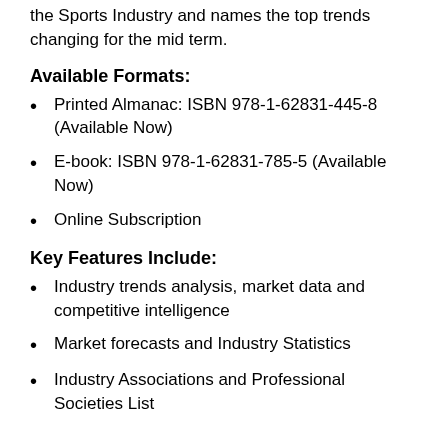the Sports Industry and names the top trends changing for the mid term.
Available Formats:
Printed Almanac: ISBN 978-1-62831-445-8 (Available Now)
E-book: ISBN 978-1-62831-785-5 (Available Now)
Online Subscription
Key Features Include:
Industry trends analysis, market data and competitive intelligence
Market forecasts and Industry Statistics
Industry Associations and Professional Societies List